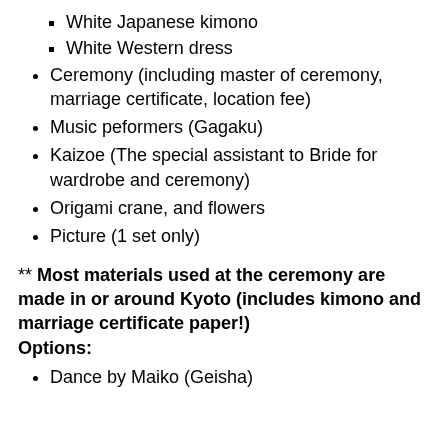White Japanese kimono
White Western dress
Ceremony (including master of ceremony, marriage certificate, location fee)
Music peformers (Gagaku)
Kaizoe (The special assistant to Bride for wardrobe and ceremony)
Origami crane, and flowers
Picture (1 set only)
** Most materials used at the ceremony are made in or around Kyoto (includes kimono and marriage certificate paper!)
Options:
Dance by Maiko (Geisha)